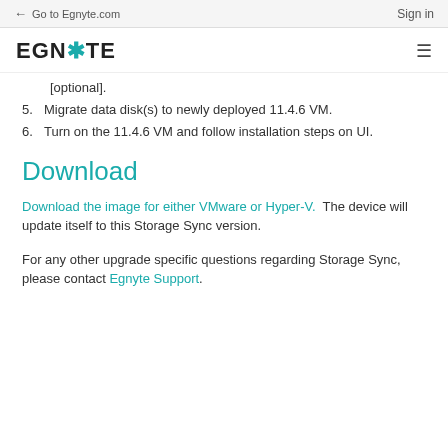← Go to Egnyte.com    Sign in
[Figure (logo): Egnyte logo with teal asterisk/snowflake character and hamburger menu icon]
[optional].
5. Migrate data disk(s) to newly deployed 11.4.6 VM.
6. Turn on the 11.4.6 VM and follow installation steps on UI.
Download
Download the image for either VMware or Hyper-V.  The device will update itself to this Storage Sync version.
For any other upgrade specific questions regarding Storage Sync, please contact Egnyte Support.